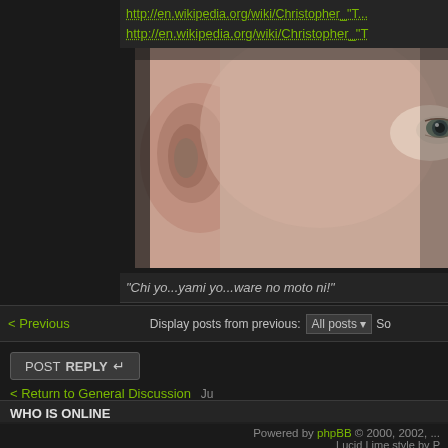http://en.wikipedia.org/wiki/Christopher_"T... http://en.wikipedia.org/wiki/Terabyte ...
[Figure (photo): Close-up photo of a person's face, showing ear on left and eye on right, warm skin tones]
"Chi yo...yami yo...ware no moto ni!"
< Previous   Display posts from previous: All posts   So
POSTREPLY
< Return to General Discussion   Ju
WHO IS ONLINE
Users browsing this forum: No registered users and 1 guest
Board index   Th
Powered by phpBB © 2000, 2002, ... Lucid Lime style by P